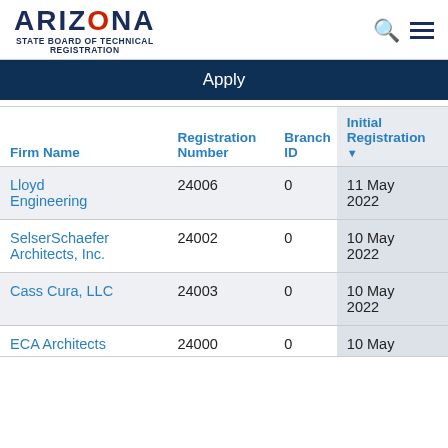ARIZONA STATE BOARD OF TECHNICAL REGISTRATION
Apply
| Firm Name | Registration Number | Branch ID | Initial Registration ▼ |
| --- | --- | --- | --- |
| Lloyd Engineering | 24006 | 0 | 11 May 2022 |
| SelserSchaefer Architects, Inc. | 24002 | 0 | 10 May 2022 |
| Cass Cura, LLC | 24003 | 0 | 10 May 2022 |
| ECA Architects | 24000 | 0 | 10 May |